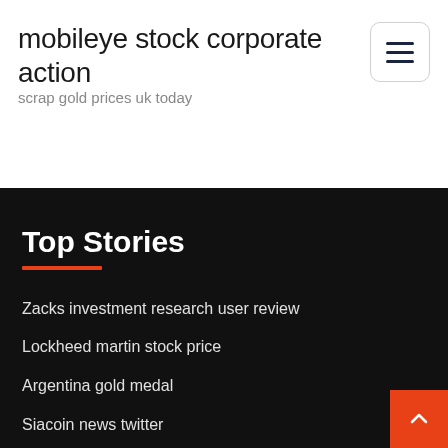mobileye stock corporate action
scrap gold prices uk today
Top Stories
Zacks investment research user review
Lockheed martin stock price
Argentina gold medal
Siacoin news twitter
Rbc direct investing reddit